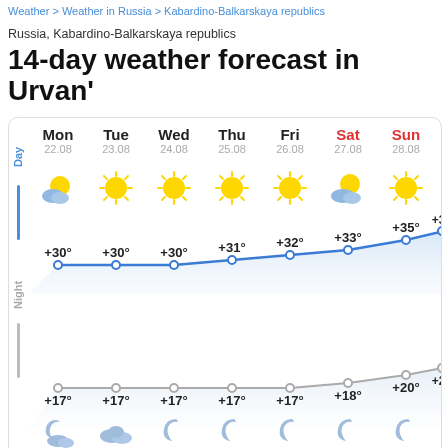Weather > Weather in Russia > Kabardino-Balkarskaya republics
Russia, Kabardino-Balkarskaya republics
14-day weather forecast in Urvan'
[Figure (infographic): 14-day weather forecast chart showing day and night temperatures for Mon 22.08 through Mon 29.08+. Day temperatures range from +30° to +37°, night temperatures from +17° to +22°. Weather icons show partly cloudy to sunny conditions. A blue line connects day temps and a gray line connects night temps.]